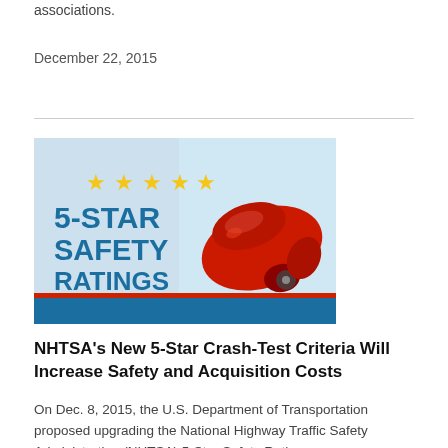associations.
December 22, 2015
[Figure (illustration): 5-Star Safety Ratings graphic with five gold stars and a red crashed car on a blue background]
NHTSA’s New 5-Star Crash-Test Criteria Will Increase Safety and Acquisition Costs
On Dec. 8, 2015, the U.S. Department of Transportation proposed upgrading the National Highway Traffic Safety Administration (NHTSA) 5-Star Safety Rating...